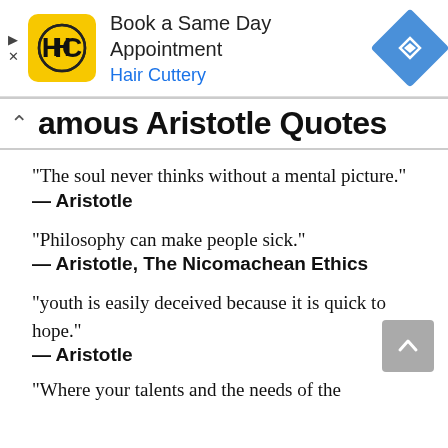[Figure (screenshot): Advertisement banner for Hair Cuttery showing their logo, 'Book a Same Day Appointment' text, 'Hair Cuttery' link in blue, and a blue navigation diamond icon on the right]
Famous Aristotle Quotes
“The soul never thinks without a mental picture.”
— Aristotle
“Philosophy can make people sick.”
— Aristotle, The Nicomachean Ethics
“youth is easily deceived because it is quick to hope.”
— Aristotle
“Where your talents and the needs of the